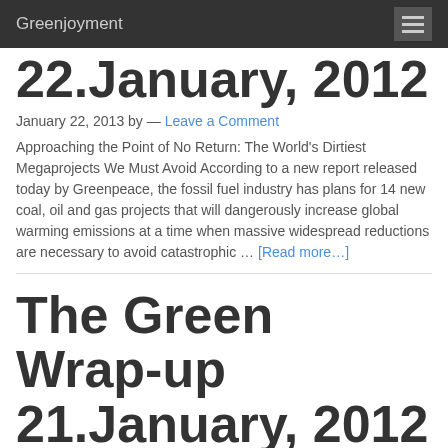Greenjoyment
22.January, 2012
January 22, 2013 by — Leave a Comment
Approaching the Point of No Return: The World's Dirtiest Megaprojects We Must Avoid According to a new report released today by Greenpeace, the fossil fuel industry has plans for 14 new coal, oil and gas projects that will dangerously increase global warming emissions at a time when massive widespread reductions are necessary to avoid catastrophic … [Read more…]
The Green Wrap-up 21.January, 2012
January 22, 2013 by — Leave a Comment